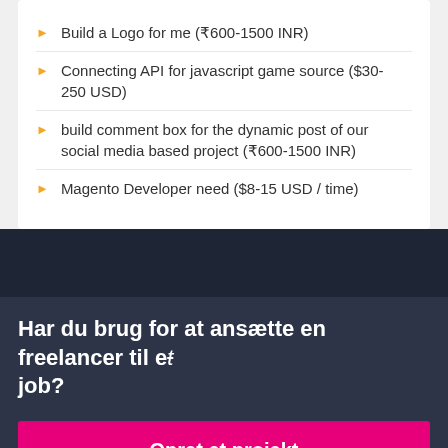Build a Logo for me (₹600-1500 INR)
Connecting API for javascript game source ($30-250 USD)
build comment box for the dynamic post of our social media based project (₹600-1500 INR)
Magento Developer need ($8-15 USD / time)
Har du brug for at ansætte en freelancer til et job?
Opret et projekt